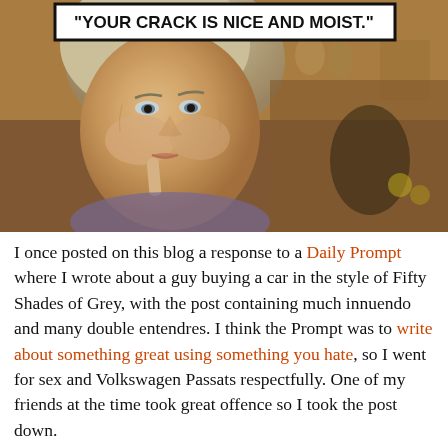[Figure (photo): Older blonde woman with finger to lips, looking sideways with a thoughtful expression, in a kitchen setting]
"YOUR CRACK IS NICE AND MOIST."
I once posted on this blog a response to a Daily Prompt where I wrote about a guy buying a car in the style of Fifty Shades of Grey, with the post containing much innuendo and many double entendres.  I think the Prompt was to write about something great using something you hate, so I went for sex and Volkswagen Passats respectfully.  One of my friends at the time took great offence so I took the post down.